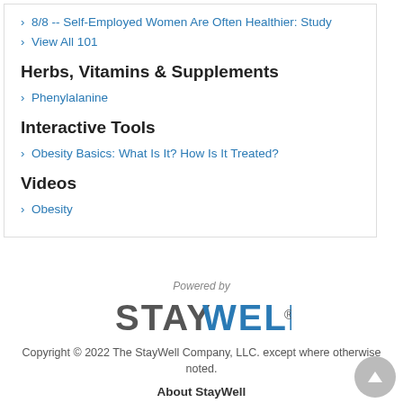> 8/8 -- Self-Employed Women Are Often Healthier: Study
> View All 101
Herbs, Vitamins & Supplements
> Phenylalanine
Interactive Tools
> Obesity Basics: What Is It? How Is It Treated?
Videos
> Obesity
Powered by
[Figure (logo): StayWell logo in bold gray letters with registered trademark symbol]
Copyright © 2022 The StayWell Company, LLC. except where otherwise noted.
About StayWell